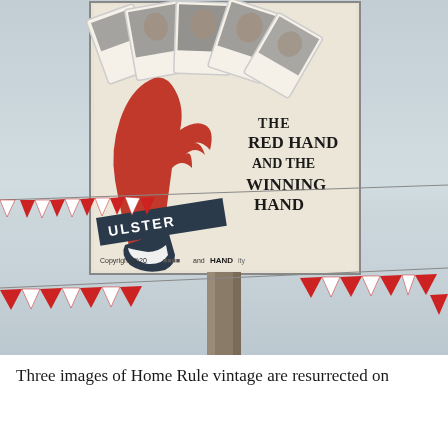[Figure (photo): Outdoor photograph showing a billboard/sign mounted on a pole displaying a historical Ulster Unionist poster. The poster features a red hand holding playing cards with portrait photographs, with the text 'THE RED HAND AND THE WINNING HAND' and 'ULSTER' on a banner. Red and white bunting triangular flags are strung across the scene. A copyright notice is partially visible at the bottom of the sign.]
Three images of Home Rule vintage are resurrected on